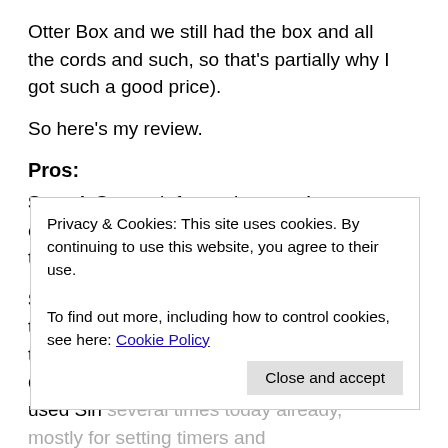Otter Box and we still had the box and all the cords and such, so that’s partially why I got such a good price).
So here’s my review.
Pros:
Speed. So much faster than my 4, especially the camera. Huge improvement there.
Siri. I know it’s a gimmick, and still technically in beta (I think), but I really hate to type, so anything that let’s me easily dictate instead of typing is a big plus. I’ve used Siri several times today already, mostly for setting timers and ...
Camera (photo quality). I’m pretty pleased with it thus far. The thing I was most looking forward to is the ability to do panoramic photos. I haven’t been able to do any just yet, but hopefully by next weekend I’ll be a bit steadier on my
Privacy & Cookies: This site uses cookies. By continuing to use this website, you agree to their use.
To find out more, including how to control cookies, see here: Cookie Policy